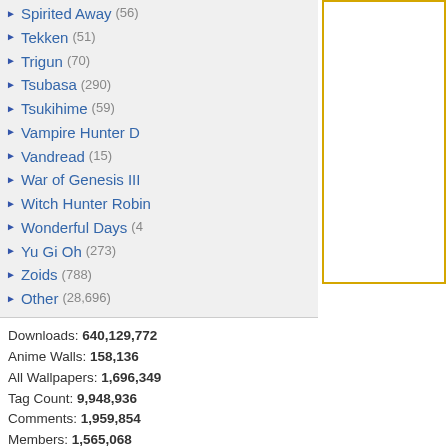Spirited Away (56)
Tekken (51)
Trigun (70)
Tsubasa (290)
Tsukihime (59)
Vampire Hunter D
Vandread (15)
War of Genesis III
Witch Hunter Robin
Wonderful Days (4
Yu Gi Oh (273)
Zoids (788)
Other (28,696)
Downloads: 640,129,772
Anime Walls: 158,136
All Wallpapers: 1,696,349
Tag Count: 9,948,936
Comments: 1,959,854
Members: 1,565,068
Votes: 12,971,712
5,924 Users Online
103 members, 5,821 guests
AlvaradoSulwen, Anderlec, artinconstruction, Astro, BestPsychic000, bmpressurewashing2, Boa, boliou, brandbajade, bridgecounseling, brighten, CarrollDentistry, cell-phone hacking, chatonfragile, Cleaners567, ColbyRichardson